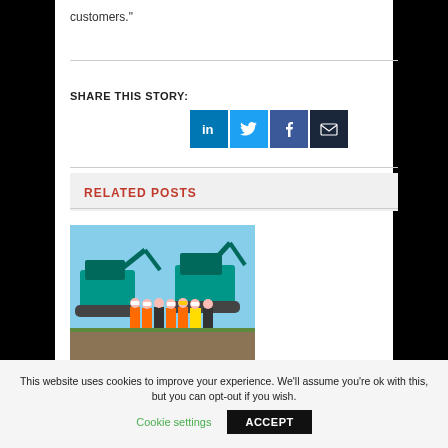customers."
SHARE THIS STORY:
[Figure (infographic): Social sharing buttons: LinkedIn (blue), Twitter (light blue), Facebook (dark blue), Email (dark navy)]
RELATED POSTS
[Figure (photo): Group of people in orange high-visibility vests and hard hats standing in front of construction excavators on a clear day]
This website uses cookies to improve your experience. We'll assume you're ok with this, but you can opt-out if you wish.
Cookie settings    ACCEPT